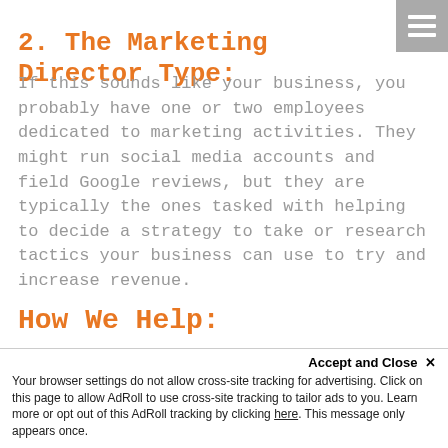2. The Marketing Director Type:
If this sounds like your business, you probably have one or two employees dedicated to marketing activities. They might run social media accounts and field Google reviews, but they are typically the ones tasked with helping to decide a strategy to take or research tactics your business can use to try and increase revenue.
How We Help:
We love working with Marketing Directors and Marketing Coordinators. They are an incredible
Accept and Close ✕
Your browser settings do not allow cross-site tracking for advertising. Click on this page to allow AdRoll to use cross-site tracking to tailor ads to you. Learn more or opt out of this AdRoll tracking by clicking here. This message only appears once.